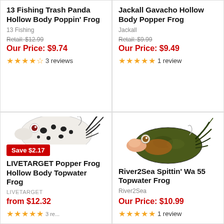13 Fishing Trash Panda Hollow Body Poppin' Frog
13 Fishing
Retail: $12.99
Our Price: $9.74
3 reviews
Jackall Gavacho Hollow Body Popper Frog
Jackall
Retail: $9.99
Our Price: $9.49
1 review
[Figure (photo): White and black spotted hollow body frog fishing lure with red eyes and black skirt]
Save $2.17
LIVETARGET Popper Frog Hollow Body Topwater Frog
LIVETARGET
from $12.32
[Figure (photo): Dark green and brown hollow body frog fishing lure with pink lip and black skirt]
River2Sea Spittin' Wa 55 Topwater Frog
River2Sea
Our Price: $10.99
1 review